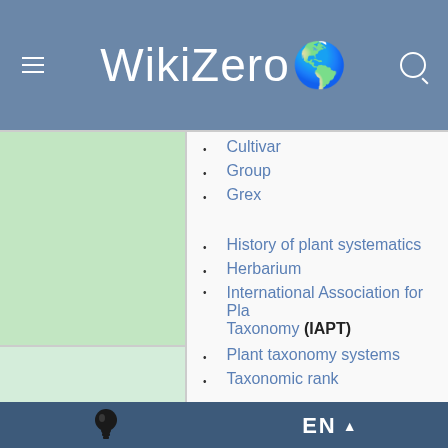WikiZero
Cultivar
Group
Grex
History of plant systematics
Herbarium
International Association for Plant Taxonomy (IAPT)
Plant taxonomy systems
Taxonomic rank
Agronomy
EN